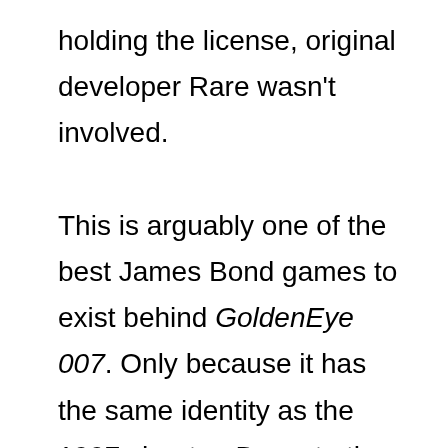holding the license, original developer Rare wasn't involved.

This is arguably one of the best James Bond games to exist behind GoldenEye 007. Only because it has the same identity as the 1997 shooter. Down to the core shooting mechanics which were updated with Activision's Call of Duty flair. The story would be modernized with its setting, technology, and weapons. Iconic characters were given new life through a refreshing delivery. More